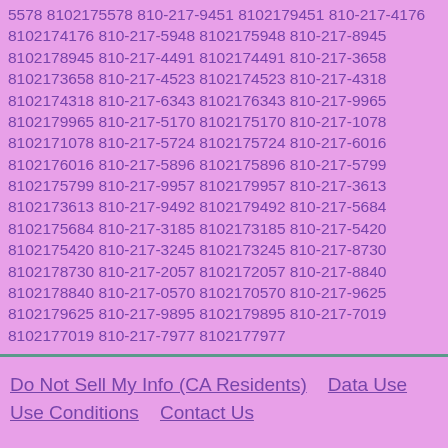5578 8102175578 810-217-9451 8102179451 810-217-4176 8102174176 810-217-5948 8102175948 810-217-8945 8102178945 810-217-4491 8102174491 810-217-3658 8102173658 810-217-4523 8102174523 810-217-4318 8102174318 810-217-6343 8102176343 810-217-9965 8102179965 810-217-5170 8102175170 810-217-1078 8102171078 810-217-5724 8102175724 810-217-6016 8102176016 810-217-5896 8102175896 810-217-5799 8102175799 810-217-9957 8102179957 810-217-3613 8102173613 810-217-9492 8102179492 810-217-5684 8102175684 810-217-3185 8102173185 810-217-5420 8102175420 810-217-3245 8102173245 810-217-8730 8102178730 810-217-2057 8102172057 810-217-8840 8102178840 810-217-0570 8102170570 810-217-9625 8102179625 810-217-9895 8102179895 810-217-7019 8102177019 810-217-7977 8102177977
Do Not Sell My Info (CA Residents)    Data Use    Use Conditions    Contact Us